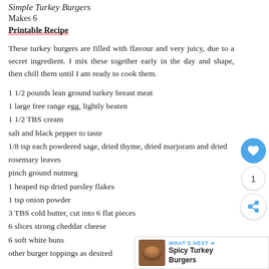Simple Turkey Burgers
Makes 6
Printable Recipe
These turkey burgers are filled with flavour and very juicy, due to a secret ingredient. I mix these together early in the day and shape, then chill them until I am ready to cook them.
1 1/2 pounds lean ground turkey breast meat
1 large free range egg, lightly beaten
1 1/2 TBS cream
salt and black pepper to taste
1/8 tsp each powdered sage, dried thyme, dried marjoram and dried rosemary leaves
pinch ground nutmeg
1 heaped tsp dried parsley flakes
1 tsp onion powder
3 TBS cold butter, cut into 6 flat pieces
6 slices strong cheddar cheese
6 soft white buns
other burger toppings as desired